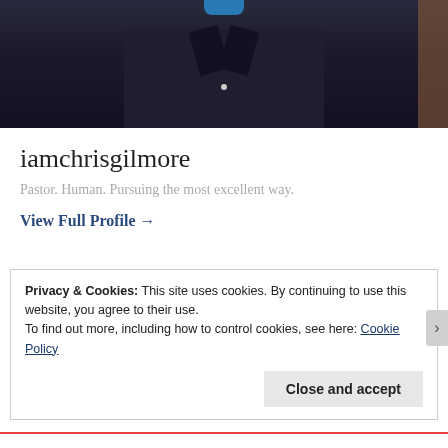[Figure (photo): A person wearing a dark navy/black button-up shirt with a blue shirt visible at the collar, standing in front of a brick wall background. Only the torso and lower face/neck are visible.]
iamchrisgilmore
Pastor. Human. Pursuing the most excellent way.
View Full Profile →
Privacy & Cookies: This site uses cookies. By continuing to use this website, you agree to their use.
To find out more, including how to control cookies, see here: Cookie Policy